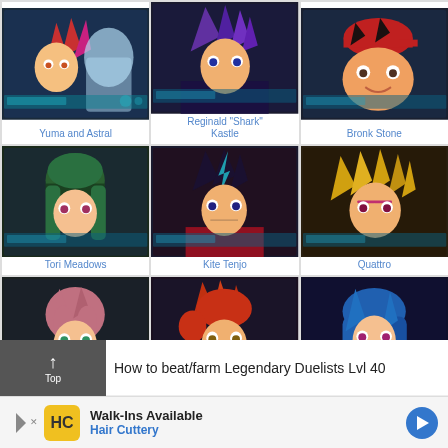[Figure (illustration): 3x3 grid of Yu-Gi-Oh ZEXAL anime character portraits with cyan/teal themed card frames. Row 1: Yuma and Astral, Reginald 'Shark' Kastle, Bronk Stone. Row 2: Tori Meadows, Kite Tenjo, Quattro. Row 3: Trey, Anna Kaboom, Rio Kastle.]
Yuma and Astral
Reginald "Shark" Kastle
Bronk Stone
Tori Meadows
Kite Tenjo
Quattro
Trey
Anna Kaboom
Rio Kastle
How to beat/farm Legendary Duelists Lvl 40
[Figure (photo): Advertisement for Hair Cuttery with yellow HC logo, walk-ins available text, and blue directional arrow icon]